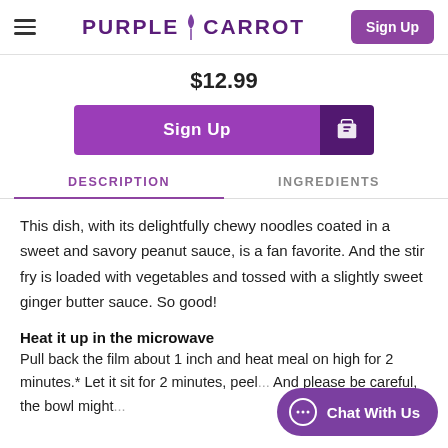Purple Carrot — Sign Up
$12.99
Sign Up
DESCRIPTION | INGREDIENTS
This dish, with its delightfully chewy noodles coated in a sweet and savory peanut sauce, is a fan favorite. And the stir fry is loaded with vegetables and tossed with a slightly sweet ginger butter sauce. So good!
Heat it up in the microwave
Pull back the film about 1 inch and heat meal on high for 2 minutes.* Let it sit for 2 minutes, peel... And please be careful, the bowl might...